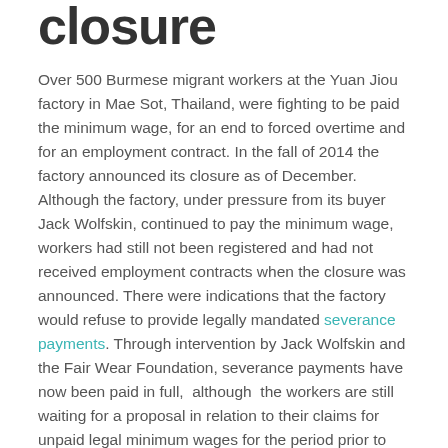closure
Over 500 Burmese migrant workers at the Yuan Jiou factory in Mae Sot, Thailand, were fighting to be paid the minimum wage, for an end to forced overtime and for an employment contract. In the fall of 2014 the factory announced its closure as of December. Although the factory, under pressure from its buyer Jack Wolfskin, continued to pay the minimum wage, workers had still not been registered and had not received employment contracts when the closure was announced. There were indications that the factory would refuse to provide legally mandated severance payments. Through intervention by Jack Wolfskin and the Fair Wear Foundation, severance payments have now been paid in full, although the workers are still waiting for a proposal in relation to their claims for unpaid legal minimum wages for the period prior to April 2014.